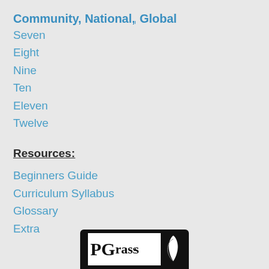Community, National, Global
Seven
Eight
Nine
Ten
Eleven
Twelve
Resources:
Beginners Guide
Curriculum Syllabus
Glossary
Extra
[Figure (logo): PGrass logo with large P and G letters on white background with dark border and leaf icon on right side]